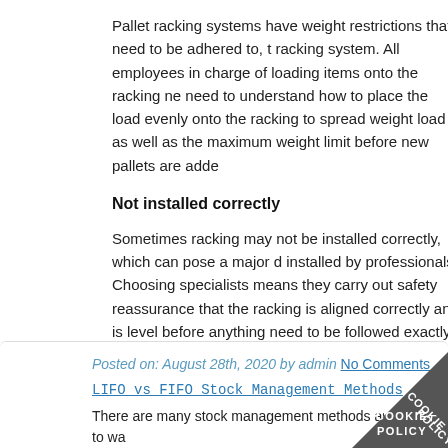Pallet racking systems have weight restrictions that need to be adhered to, the racking system. All employees in charge of loading items onto the racking ne need to understand how to place the load evenly onto the racking to spread weight load as well as the maximum weight limit before new pallets are adde
Not installed correctly
Sometimes racking may not be installed correctly, which can pose a major d installed by professionals. Choosing specialists means they carry out safety reassurance that the racking is aligned correctly and is level before anything need to be followed exactly to ensure it is installed correctly and fit for purpo a major health and safety nightmare.
Pallet racking can help optimise warehouse operations and make daily tasks be considered to avoid damage or harm. By ensuring the pallet racking is ins a professional regularly, a warehouse manager can use pallet racking to hel warehouse operations.
Posted on: August 28th, 2020 by admin No Comments
LIFO vs FIFO Stock Management Methods
There are many stock management methods available to wa